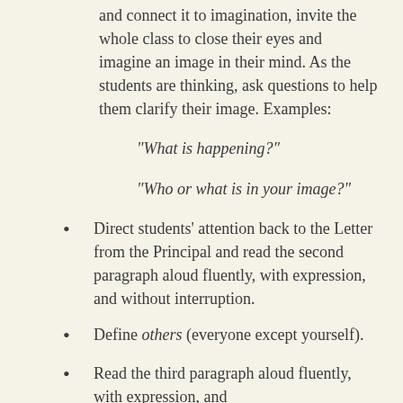and connect it to imagination, invite the whole class to close their eyes and imagine an image in their mind. As the students are thinking, ask questions to help them clarify their image. Examples:
"What is happening?"
"Who or what is in your image?"
Direct students' attention back to the Letter from the Principal and read the second paragraph aloud fluently, with expression, and without interruption.
Define others (everyone except yourself).
Read the third paragraph aloud fluently, with expression, and